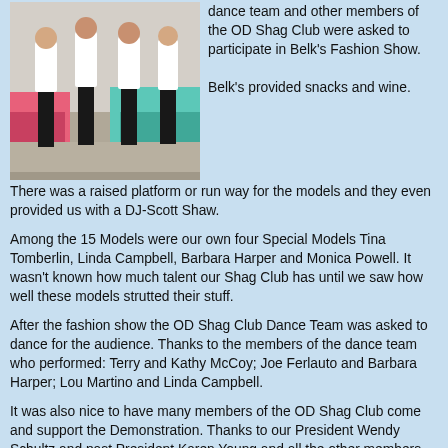[Figure (photo): People in white shirts and black pants dancing at what appears to be a mall or retail event with pink and teal tablecloths visible in the background.]
dance team and other members of the OD Shag Club were asked to participate in Belk's Fashion Show.
Belk's provided snacks and wine. There was a raised platform or run way for the models and they even provided us with a DJ-Scott Shaw.
Among the 15 Models were our own four Special Models Tina Tomberlin, Linda Campbell, Barbara Harper and Monica Powell. It wasn't known how much talent our Shag Club has until we saw how well these models strutted their stuff.
After the fashion show the OD Shag Club Dance Team was asked to dance for the audience. Thanks to the members of the dance team who performed: Terry and Kathy McCoy; Joe Ferlauto and Barbara Harper; Lou Martino and Linda Campbell.
It was also nice to have many members of the OD Shag Club come and support the Demonstration. Thanks to our President Wendy Schultz and past President Karen Young and all the other members who showed up to support our Team.
A special thanks to Cindy Day for asking the dance team to dance for The Belk's Girls Night Out Fashion Show.
[Figure (logo): RSS feed icon (orange square with white radio wave symbol)]